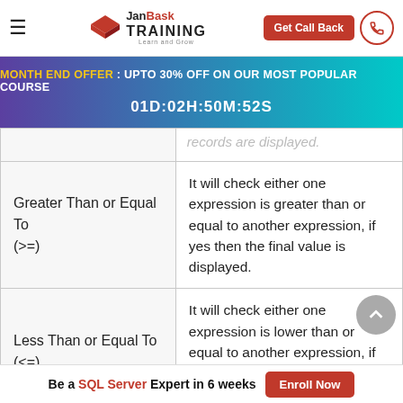JanBask TRAINING — Get Call Back
MONTH END OFFER : UPTO 30% OFF ON OUR MOST POPULAR COURSE
01D:02H:50M:52S
| Operator | Description |
| --- | --- |
| Greater Than or Equal To (>=) | It will check either one expression is greater than or equal to another expression, if yes then the final value is displayed. |
| Less Than or Equal To (<=) | It will check either one expression is lower than or equal to another expression, if yes then the final value is displayed. |
|  | It will check either one expression is greater than |
Be a SQL Server Expert in 6 weeks  Enroll Now